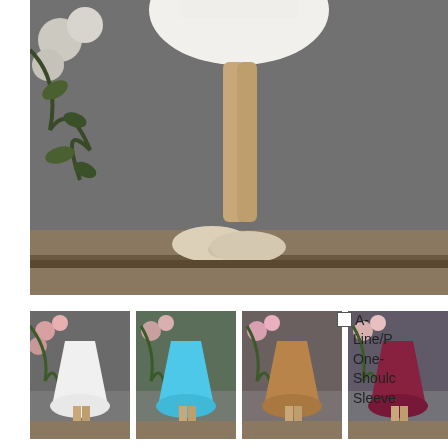[Figure (photo): Fashion photo showing lower body of woman in white short dress wearing beige peep-toe high heels, standing against a dark gray wall with floral decoration on the left]
[Figure (photo): Four thumbnail photos of women wearing the same A-line one-shoulder short dress in different colors: white, light blue, tan/brown, and dark red/burgundy]
A-Line/P One-Should Sleeve